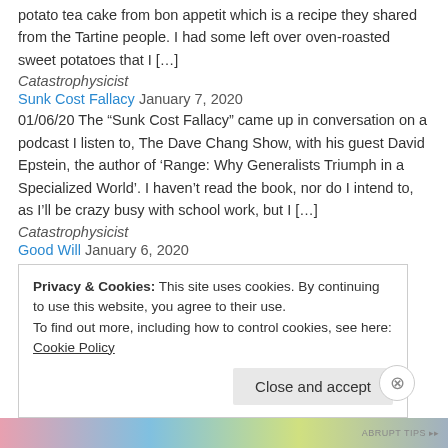potato tea cake from bon appetit which is a recipe they shared from the Tartine people. I had some left over oven-roasted sweet potatoes that I [...]
Catastrophysicist
Sunk Cost Fallacy January 7, 2020
01/06/20 The “Sunk Cost Fallacy” came up in conversation on a podcast I listen to, The Dave Chang Show, with his guest David Epstein, the author of ‘Range: Why Generalists Triumph in a Specialized World’. I haven’t read the book, nor do I intend to, as I’ll be crazy busy with school work, but I [...]
Catastrophysicist
Good Will January 6, 2020
01/05/20 This is the top of one of a pair of speakers that I bought with a
Privacy & Cookies: This site uses cookies. By continuing to use this website, you agree to their use.
To find out more, including how to control cookies, see here: Cookie Policy
Close and accept